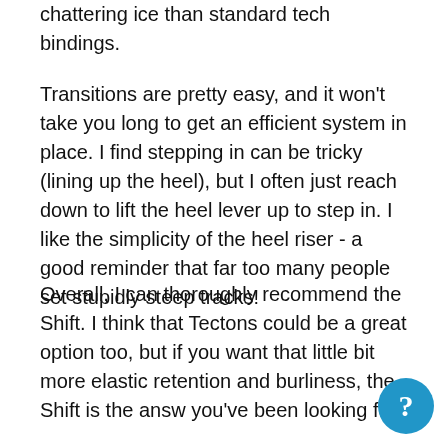seem to be much more stable on both chattering ice than standard tech bindings.
Transitions are pretty easy, and it won't take you long to get an efficient system in place. I find stepping in can be tricky (lining up the heel), but I often just reach down to lift the heel lever up to step in. I like the simplicity of the heel riser - a good reminder that far too many people set stupidly steep tracks!
Overall, I can thoroughly recommend the Shift. I think that Tectons could be a great option too, but if you want that little bit more elastic retention and burliness, the Shift is the answ you've been looking for.